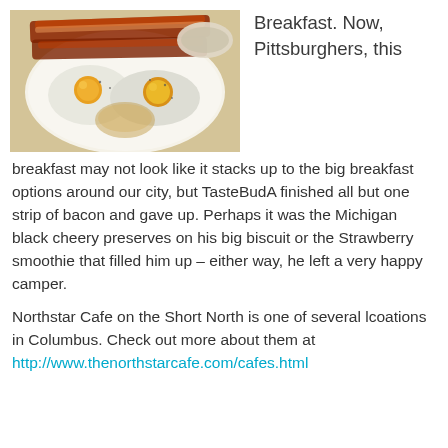[Figure (photo): A plate with sunny-side-up eggs, strips of bacon, and a biscuit with a small bowl in the background, photographed from above.]
Breakfast. Now, Pittsburghers, this
breakfast may not look like it stacks up to the big breakfast options around our city, but TasteBudA finished all but one strip of bacon and gave up.  Perhaps it was the Michigan black cheery preserves on his big biscuit or the Strawberry smoothie that filled him up – either way, he left a very happy camper.

Northstar Cafe on the Short North is one of several lcoations in Columbus.  Check out more about them at http://www.thenorthstarcafe.com/cafes.html